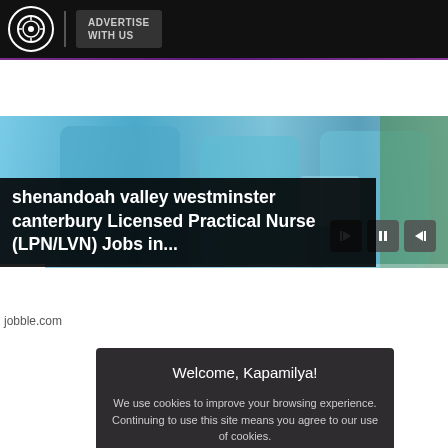ADVERTISE WITH US
[Figure (screenshot): Video player showing nurses/medical staff in blue scrubs with playback controls]
shenandoah valley westminster canterbury Licensed Practical Nurse (LPN/LVN) Jobs in...
jobble.com
[Figure (photo): Close-up photo of a person with dark hair and a cookie consent modal overlay]
Welcome, Kapamilya!

We use cookies to improve your browsing experience.
Continuing to use this site means you agree to our use of cookies.

Tell me more!

I AGREE!